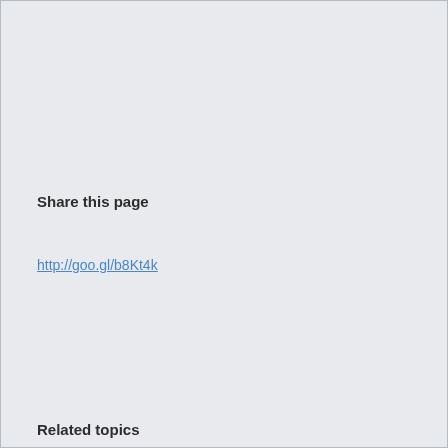Share this page
http://goo.gl/b8Kt4k
Related topics